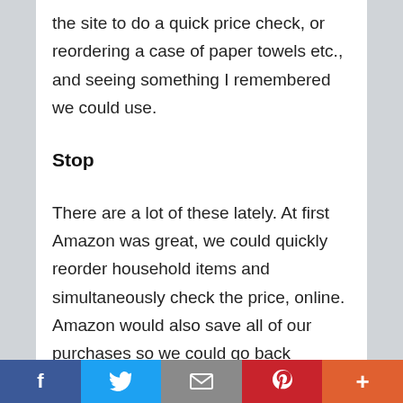the site to do a quick price check, or reordering a case of paper towels etc., and seeing something I remembered we could use.
Stop
There are a lot of these lately. At first Amazon was great, we could quickly reorder household items and simultaneously check the price, online. Amazon would also save all of our purchases so we could go back